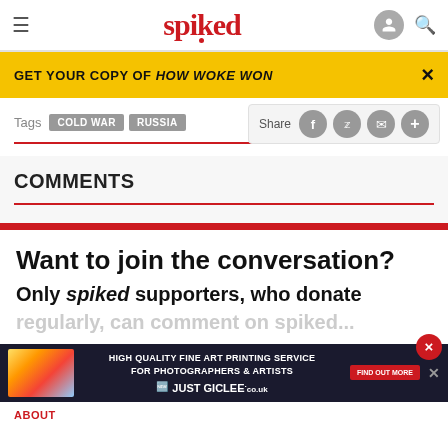spiked
GET YOUR COPY OF HOW WOKE WON
Tags COLD WAR RUSSIA | Share
COMMENTS
Want to join the conversation?
Only spiked supporters, who donate
regularly, can comment on spiked articles.
[Figure (screenshot): Ad banner for Just Giclee fine art printing service for photographers and artists]
ABOUT